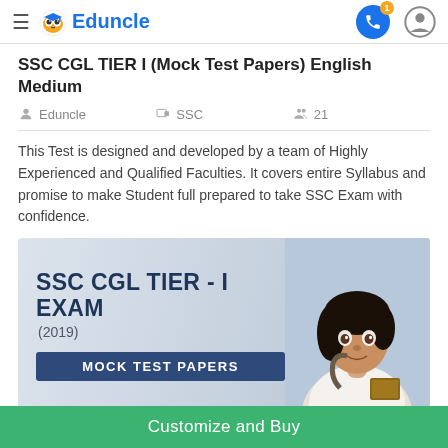Eduncle
SSC CGL TIER I (Mock Test Papers) English Medium
Eduncle   SSC   21
This Test is designed and developed by a team of Highly Experienced and Qualified Faculties. It covers entire Syllabus and promise to make Student full prepared to take SSC Exam with confidence.
[Figure (illustration): SSC CGL TIER - I EXAM (2019) Mock Test Papers promotional banner with a student smiling in the background]
Customize and Buy